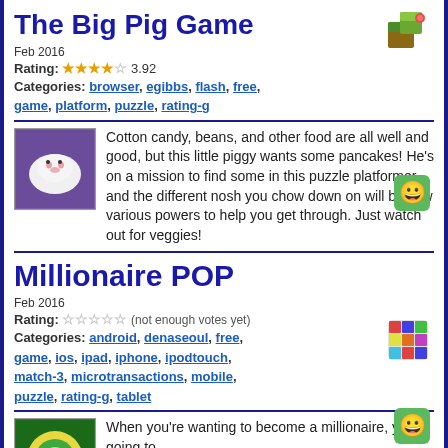The Big Pig Game
Feb 2016
Rating: ★★★★☆ 3.92
Categories: browser, egibbs, flash, free, game, platform, puzzle, rating-g
Cotton candy, beans, and other food are all well and good, but this little piggy wants some pancakes! He's on a mission to find some in this puzzle platformer, and the different nosh you chow down on will bestow various powers to help you get through. Just watch out for veggies!
Millionaire POP
Feb 2016
Rating: ☆☆☆☆☆ (not enough votes yet)
Categories: android, denaseoul, free, game, ios, ipad, iphone, ipodtouch, match-3, microtransactions, mobile, puzzle, rating-g, tablet
When you're wanting to become a millionaire, you're going to